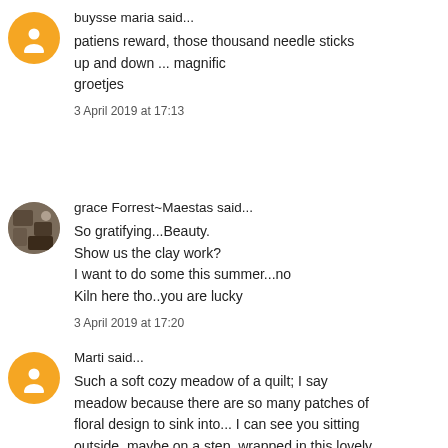buysse maria said...
patiens reward, those thousand needle sticks up and down ... magnific
groetjes
3 April 2019 at 17:13
grace Forrest~Maestas said...
So gratifying...Beauty.
Show us the clay work?
I want to do some this summer...no
Kiln here tho..you are lucky
3 April 2019 at 17:20
Marti said...
Such a soft cozy meadow of a quilt; I say meadow because there are so many patches of floral design to sink into... I can see you sitting outside, maybe on a step, wrapped in this lovely quilt, watching the night come in and as the